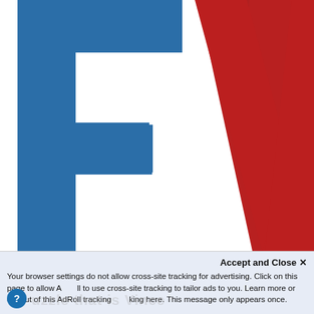[Figure (logo): Large stylized letters 'FA' logo. The letter F is rendered in steel blue, occupying the left portion. The letter A is rendered in dark red, overlapping the F, centered-right. Both letters are very large and cropped, filling most of the upper page area.]
Accept and Close ×
Your browser settings do not allow cross-site tracking for advertising. Click on this page to allow AdRoll to use cross-site tracking to tailor ads to you. Learn more or opt out of this AdRoll tracking by clicking here. This message only appears once.